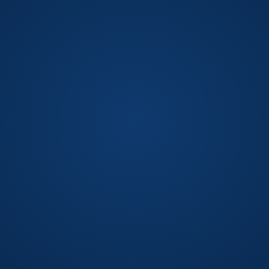[Figure (other): Solid dark navy blue background filling the entire page, approximately #0d3464 color with subtle tonal variation.]